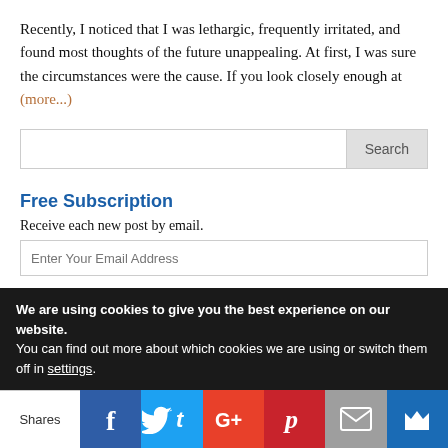Recently, I noticed that I was lethargic, frequently irritated, and found most thoughts of the future unappealing. At first, I was sure the circumstances were the cause. If you look closely enough at (more...)
[Figure (screenshot): Search bar with text input and Search button]
Free Subscription
Receive each new post by email.
[Figure (screenshot): Email input field with placeholder Enter Your Email Address]
We are using cookies to give you the best experience on our website.
You can find out more about which cookies we are using or switch them off in settings.
[Figure (infographic): Social sharing bar with Shares label, Facebook, Twitter, Google+, Pinterest, Email, and crown icon buttons]